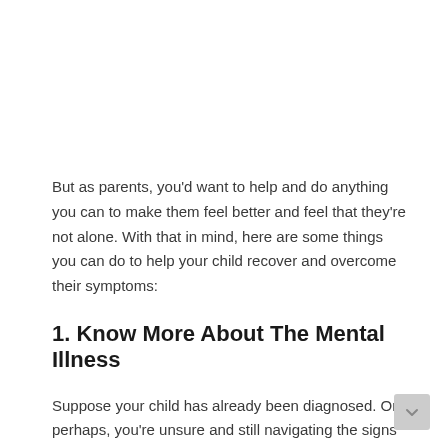But as parents, you'd want to help and do anything you can to make them feel better and feel that they're not alone. With that in mind, here are some things you can do to help your child recover and overcome their symptoms:
1. Know More About The Mental Illness
Suppose your child has already been diagnosed. Or perhaps, you're unsure and still navigating the signs mentioned above. Regardless of the case, it's essential that, as parents, you take the time to learn and know more about mental illness.